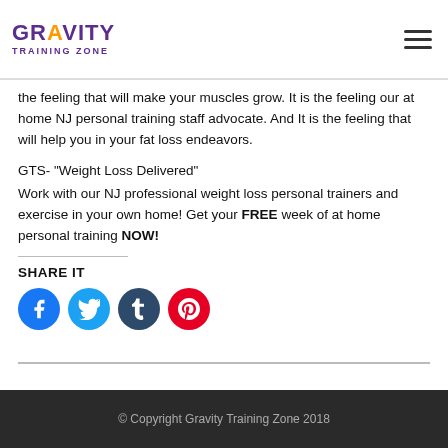Gravity Training Zone
the feeling that will make your muscles grow. It is the feeling our at home NJ personal training staff advocate. And It is the feeling that will help you in your fat loss endeavors.
GTS- “Weight Loss Delivered”
Work with our NJ professional weight loss personal trainers and exercise in your own home! Get your FREE week of at home personal training NOW!
SHARE IT
[Figure (infographic): Row of four social media share buttons: Facebook (blue), Twitter (light blue), Tumblr (dark blue), Pinterest (red), each as a circle with a white icon.]
© Copyright Gravity Training Zone 2018